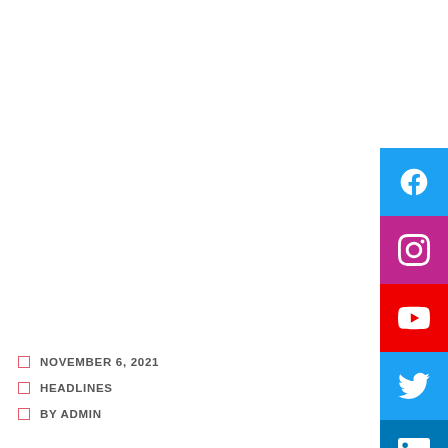[Figure (infographic): Social media sidebar with icons for Facebook (blue), Instagram (magenta/purple), YouTube (red), Twitter (light blue), LinkedIn (dark blue) stacked vertically on the right side of the page]
NOVEMBER 6, 2021
HEADLINES
BY ADMIN